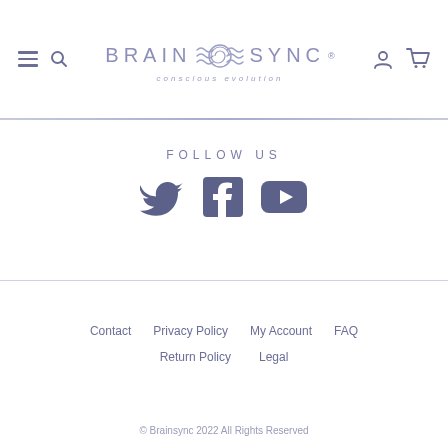BRAIN SYNC — conscious evolution (logo header with navigation icons)
[Figure (logo): Brain Sync logo with spiral wave icon and tagline 'conscious evolution']
FOLLOW US
[Figure (infographic): Social media icons: Twitter bird, Facebook f, YouTube play button]
Contact   Privacy Policy   My Account   FAQ   Return Policy   Legal
© Brainsync 2022 All Rights Reserved